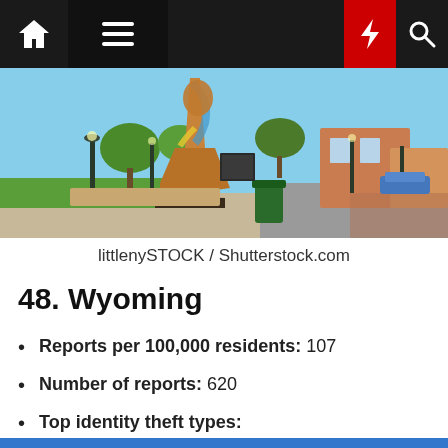Navigation bar with home, menu, moon, lightning, search icons
[Figure (photo): Outdoor street scene featuring a large decorative cowboy boot sculpture in the foreground, with a park, trees, street lamps, and brick buildings in the background. Sunny day in what appears to be Cheyenne, Wyoming.]
littlenySTOCK / Shutterstock.com
48. Wyoming
Reports per 100,000 residents: 107
Number of reports: 620
Top identity theft types: